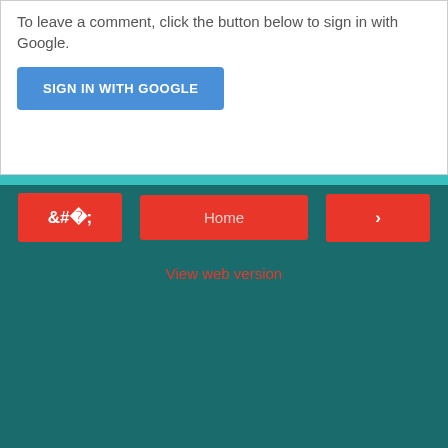To leave a comment, click the button below to sign in with Google.
[Figure (screenshot): Blue 'SIGN IN WITH GOOGLE' button]
[Figure (screenshot): Navigation row with red left arrow button, red Home button, and red right arrow button on teal background]
View web version